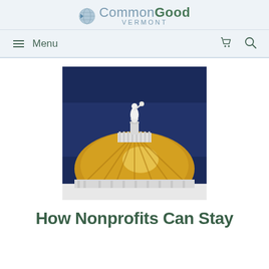CommonGood VERMONT
≡ Menu
[Figure (photo): Photo of the Vermont State House capitol dome at night, showing a golden dome with a white classical statue on top, against a deep blue night sky.]
How Nonprofits Can Stay